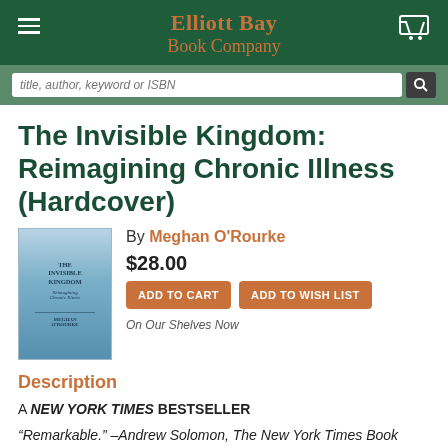Elliott Bay Book Company
The Invisible Kingdom: Reimagining Chronic Illness (Hardcover)
By Meghan O'Rourke
$28.00
ADD TO CART  ADD TO WISH LIST
On Our Shelves Now
Description
A NEW YORK TIMES BESTSELLER
“Remarkable.” –Andrew Solomon, The New York Times Book Review